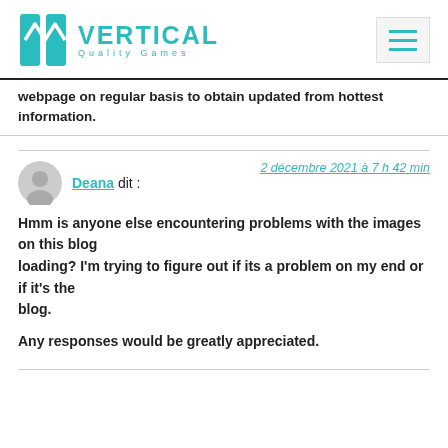[Figure (logo): Vertical Quality Games logo with teal geometric icon and teal text]
webpage on regular basis to obtain updated from hottest information.
Deana dit :
2 décembre 2021 à 7 h 42 min
Hmm is anyone else encountering problems with the images on this blog
loading? I'm trying to figure out if its a problem on my end or if it's the blog.

Any responses would be greatly appreciated.